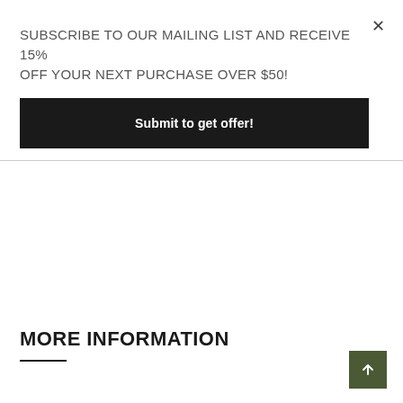×
SUBSCRIBE TO OUR MAILING LIST AND RECEIVE 15% OFF YOUR NEXT PURCHASE OVER $50!
Submit to get offer!
MORE INFORMATION